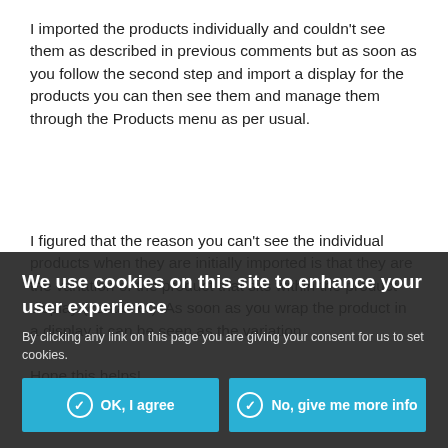I imported the products individually and couldn't see them as described in previous comments but as soon as you follow the second step and import a display for the products you can then see them and manage them through the Products menu as per usual.
I figured that the reason you can't see the individual products when they are initially imported is that they are the variation of the product that sits within the product display (container). As soon as you wrap the product in a display it can be seen as the variation.

Hope this helps!
We use cookies on this site to enhance your user experience
By clicking any link on this page you are giving your consent for us to set cookies.
OK, I agree
No, give me more info